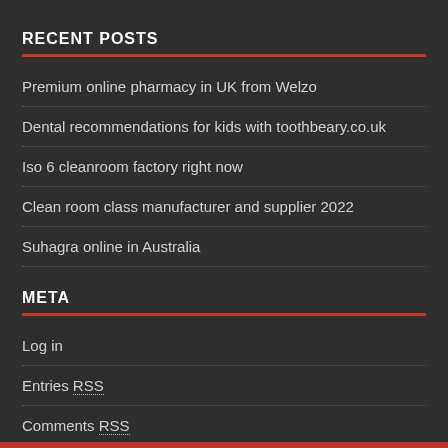RECENT POSTS
Premium online pharmacy in UK from Welzo
Dental recommendations for kids with toothbeary.co.uk
Iso 6 cleanroom factory right now
Clean room class manufacturer and supplier 2022
Suhagra online in Australia
META
Log in
Entries RSS
Comments RSS
WordPress.org